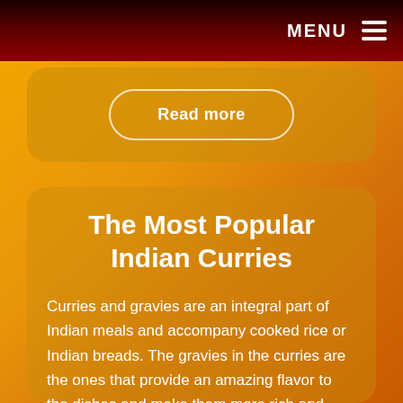MENU
[Figure (screenshot): Read more button inside a rounded card on an orange gradient background]
The Most Popular Indian Curries
Curries and gravies are an integral part of Indian meals and accompany cooked rice or Indian breads. The gravies in the curries are the ones that provide an amazing flavor to the dishes and make them more rich and enjoyable.